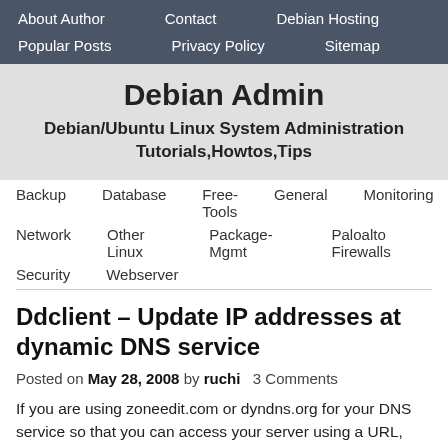About Author  Contact  Debian Hosting  Popular Posts  Privacy Policy  Sitemap
Debian Admin
Debian/Ubuntu Linux System Administration Tutorials,Howtos,Tips
Backup  Database  Free-Tools  General  Monitoring
Network  Other Linux  Package-Mgmt  Paloalto Firewalls
Security  Webserver
Ddclient – Update IP addresses at dynamic DNS service
Posted on May 28, 2008 by ruchi  3 Comments
If you are using zoneedit.com or dyndns.org for your DNS service so that you can access your server using a URL, then you might have to update your DNS record at the service